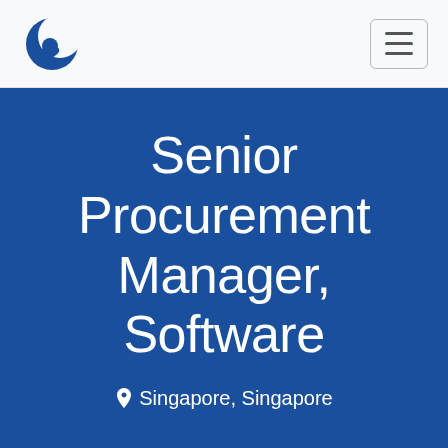[Figure (logo): Circular blue crescent logo in top-left of navigation header]
Senior Procurement Manager, Software
Singapore, Singapore